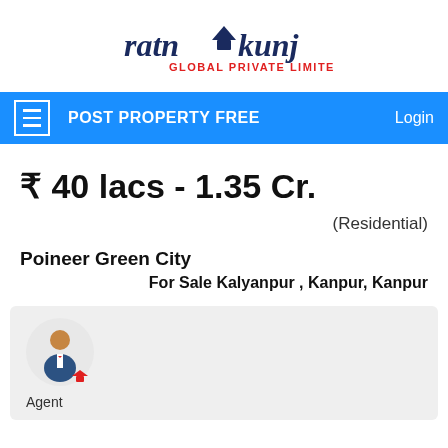[Figure (logo): Ratnakunj Global Private Limited logo — stylized text with a house/triangle icon in the center of the word]
POST PROPERTY FREE
Login
₹ 40 lacs - 1.35 Cr.
(Residential)
Poineer Green City
For Sale Kalyanpur , Kanpur, Kanpur
[Figure (illustration): Agent avatar icon — cartoon person in suit with a small house icon, labeled 'Agent']